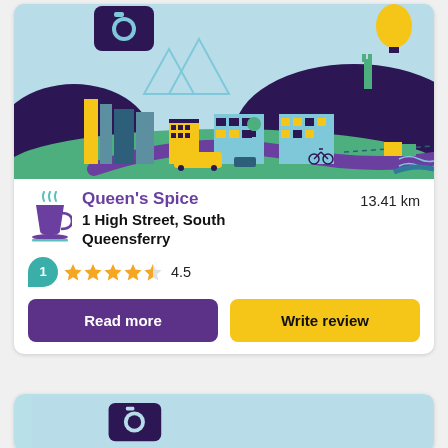[Figure (illustration): Illustrated cityscape banner showing purple hills, teal buildings, yellow skyscrapers, buses, cars, a river, a castle, and a hot air balloon on a light blue sky background.]
Queen's Spice
13.41 km
1 High Street, South Queensferry
1  ★★★★½  4.5
Read more
Write review
[Figure (illustration): Partial view of a second listing card with a light blue image area and a camera icon, cropped at the bottom of the page.]